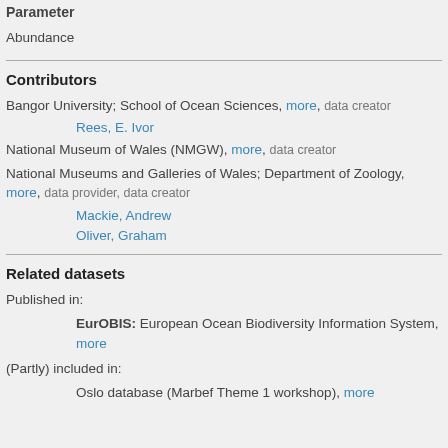Parameter
Abundance
Contributors
Bangor University; School of Ocean Sciences, more, data creator
Rees, E. Ivor
National Museum of Wales (NMGW), more, data creator
National Museums and Galleries of Wales; Department of Zoology, more, data provider, data creator
Mackie, Andrew
Oliver, Graham
Related datasets
Published in:
EurOBIS: European Ocean Biodiversity Information System, more
(Partly) included in:
Oslo database (Marbef Theme 1 workshop), more